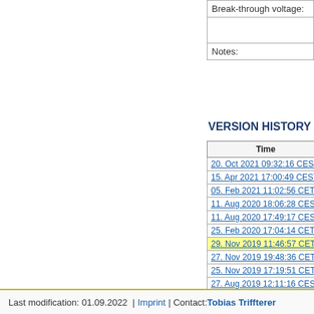| Break-through voltage: |  |
| --- | --- |
|  |  |
| Notes: |  |
VERSION HISTORY
| Time |  |
| --- | --- |
| 20. Oct 2021 09:32:16 CEST | o |
| 15. Apr 2021 17:00:49 CEST | jr |
| 05. Feb 2021 11:02:56 CET | jr |
| 11. Aug 2020 18:06:28 CEST | jr |
| 11. Aug 2020 17:49:17 CEST | jr |
| 25. Feb 2020 17:04:14 CET | v |
| 29. Nov 2019 11:46:57 CET | jr |
| 27. Nov 2019 19:48:36 CET | jr |
| 25. Nov 2019 17:19:51 CET | jr |
| 27. Aug 2019 12:11:16 CEST | jg |
| 05. Jul 2019 13:51:24 CEST | jr |
| 03. Jan 2019 00:14:19 CET | T |
| 06. Jul 2018 22:38:46 CEST | T |
Last modification: 01.09.2022  | Imprint | Contact: Tobias Triffterer